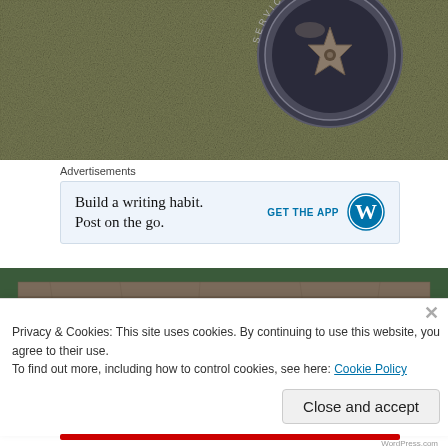[Figure (photo): Close-up macro photo of a military/service medal or badge pinned on olive green fabric/burlap textile. The medal appears to be circular with a star or similar emblem and text around the edge reading SERVICE.]
Advertisements
[Figure (screenshot): Advertisement banner for WordPress mobile app. Light blue background. Left side text: 'Build a writing habit. Post on the go.' Right side: 'GET THE APP' in blue uppercase text and the blue WordPress W logo icon.]
[Figure (photo): Partial photo of what appears to be an old wooden box or drawer with dark green painted edges, showing weathered wooden planks inside.]
Privacy & Cookies: This site uses cookies. By continuing to use this website, you agree to their use.
To find out more, including how to control cookies, see here: Cookie Policy
Close and accept